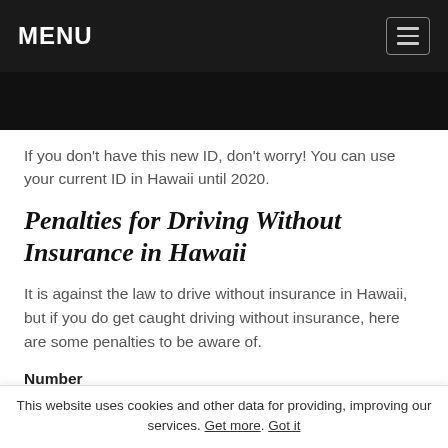MENU
If you don't have this new ID, don't worry! You can use your current ID in Hawaii until 2020.
Penalties for Driving Without Insurance in Hawaii
It is against the law to drive without insurance in Hawaii, but if you do get caught driving without insurance, here are some penalties to be aware of.
| Number of | Penalty |
| --- | --- |
This website uses cookies and other data for providing, improving our services. Get more. Got it